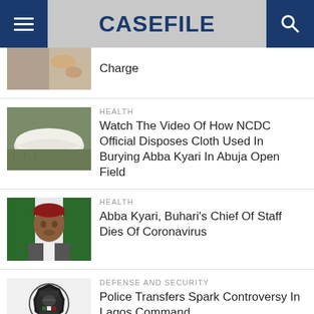CASEFILE
Charge
HEALTH
Watch The Video Of How NCDC Official Disposes Cloth Used In Burying Abba Kyari In Abuja Open Field
HEALTH
Abba Kyari, Buhari's Chief Of Staff Dies Of Coronavirus
DEFENSE AND SECURITY
Police Transfers Spark Controversy In Lagos Command
ART